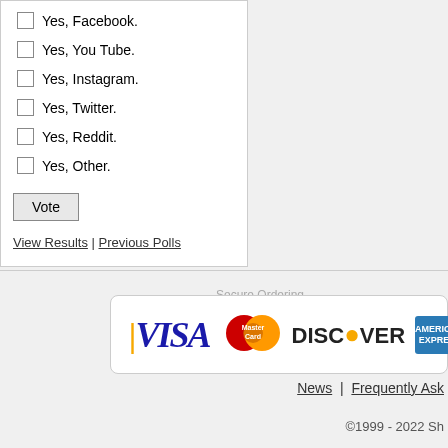Yes, Facebook.
Yes, You Tube.
Yes, Instagram.
Yes, Twitter.
Yes, Reddit.
Yes, Other.
Vote
View Results | Previous Polls
[Figure (logo): Secure Ordering section with payment logos: VISA, MasterCard, DISCOVER, American Express]
News | Frequently Ask
©1999 - 2022 Sh